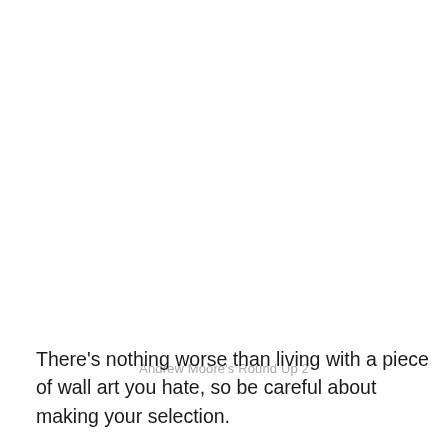There's nothing worse than living with a piece of wall art you hate, so be careful about making your selection.
Andrew Moore's Round Up 2